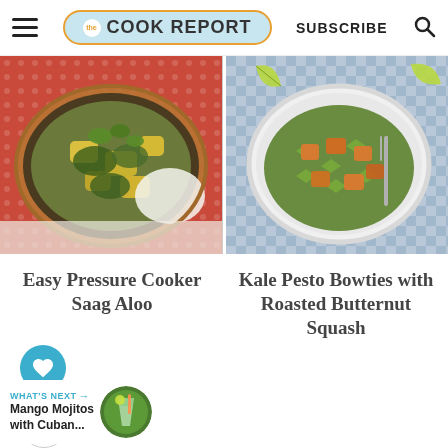THE COOK REPORT | SUBSCRIBE
[Figure (photo): Overhead photo of a copper bowl with saag aloo (spinach and potato curry with yellow chunks) garnished with cilantro, served with white rice on a red patterned cloth]
[Figure (photo): Overhead photo of a white bowl filled with kale pesto bowtie pasta and roasted butternut squash cubes, with a fork, on a blue gingham cloth with lime wedges]
Easy Pressure Cooker Saag Aloo
Kale Pesto Bowties with Roasted Butternut Squash
WHAT'S NEXT → Mango Mojitos with Cuban...